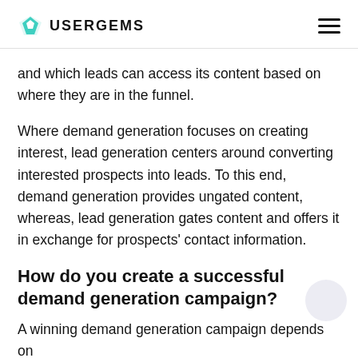USERGEMS
and which leads can access its content based on where they are in the funnel.
Where demand generation focuses on creating interest, lead generation centers around converting interested prospects into leads. To this end, demand generation provides ungated content, whereas, lead generation gates content and offers it in exchange for prospects' contact information.
How do you create a successful demand generation campaign?
A winning demand generation campaign depends on